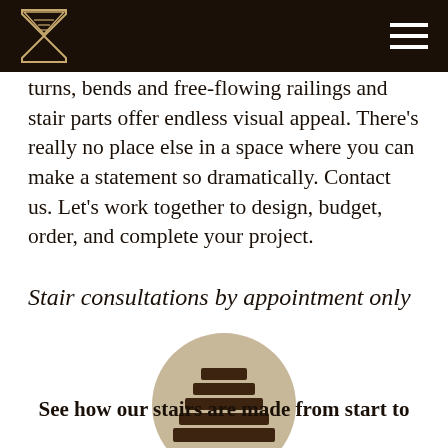turns, bends and free-flowing railings and stair parts offer endless visual appeal. There’s really no place else in a space where you can make a statement so dramatically. Contact us. Let’s work together to design, budget, order, and complete your project.
Stair consultations by appointment only
[Figure (logo): Circular tan/beige icon showing a stylized staircase with horizontal steps in dark brown]
See how our stairs are made from start to finish